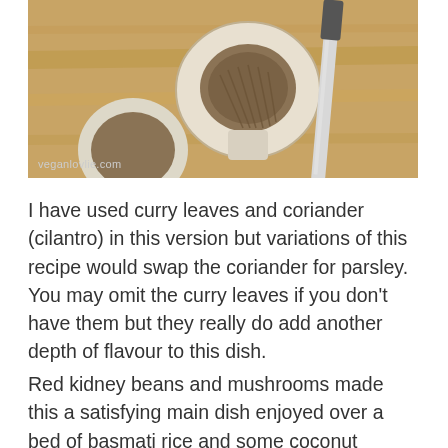[Figure (photo): Close-up photo of a sliced mushroom on a wooden cutting board with a knife visible, watermark reading veganlovlie.com in the bottom-left corner]
I have used curry leaves and coriander (cilantro) in this version but variations of this recipe would swap the coriander for parsley. You may omit the curry leaves if you don't have them but they really do add another depth of flavour to this dish.
Red kidney beans and mushrooms made this a satisfying main dish enjoyed over a bed of basmati rice and some coconut chutney.